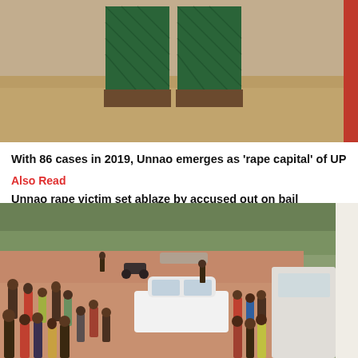[Figure (photo): Flooded area with a green gate/structure partially submerged in brown flood water, with a red column on the right side]
With 86 cases in 2019, Unnao emerges as 'rape capital' of UP
Also Read
Unnao rape victim set ablaze by accused out on bail
[Figure (photo): Aerial view of a dirt road with a crowd of people gathered around a white SUV and a white van; scene appears to be an incident site with many bystanders]